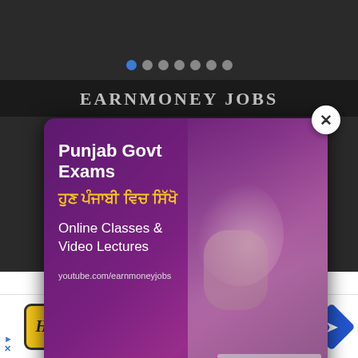[Figure (screenshot): Carousel navigation dots, one blue active dot and several grey dots]
EARNMONEY JOBS
[Figure (infographic): Advertisement popup for Punjab Govt Exams online classes in Punjabi. Shows text: Punjab Govt Exams, ਹੁਣ ਪੰਜਾਬੀ ਵਿਚ ਸਿੱਖੋ, Online Classes & Video Lectures, youtube.com/earnmoneyjobs, Check Now button. Has close X button. Background shows person writing near laptop.]
CATEGORY
[Figure (infographic): Advertisement banner: HC logo (yellow), text 'View store hours, get directions, or call your salon!', blue navigation icon on right]